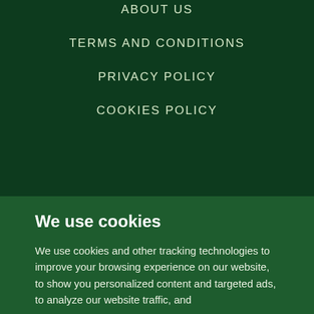ABOUT US
TERMS AND CONDITIONS
PRIVACY POLICY
COOKIES POLICY
We use cookies
We use cookies and other tracking technologies to improve your browsing experience on our website, to show you personalized content and targeted ads, to analyze our website traffic, and